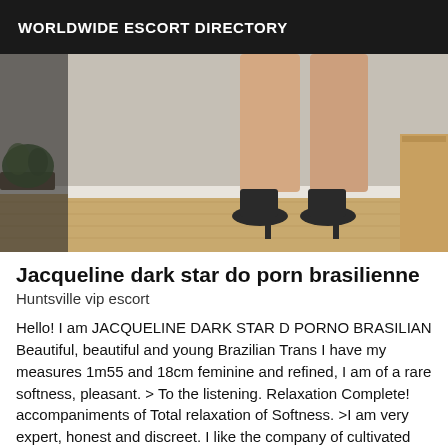WORLDWIDE ESCORT DIRECTORY
[Figure (photo): Photo showing legs of a person wearing black high heel shoes, standing on a wooden floor against a white baseboard wall. A potted plant is visible on the left and a wooden furniture piece on the right.]
Jacqueline dark star do porn brasilienne
Huntsville vip escort
Hello! I am JACQUELINE DARK STAR D PORNO BRASILIAN Beautiful, beautiful and young Brazilian Trans I have my measures 1m55 and 18cm feminine and refined, I am of a rare softness, pleasant. > To the listening. Relaxation Complete! accompaniments of Total relaxation of Softness. >I am very expert, honest and discreet. I like the company of cultivated men